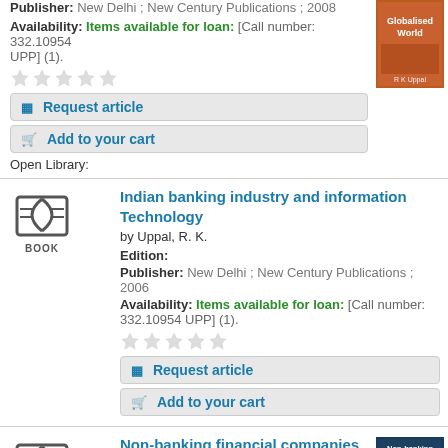Publisher: New Delhi ; New Century Publications ; 2008
Availability: Items available for loan: [Call number: 332.10954 UPP] (1).
Request article
Add to your cart
Open Library:
Indian banking industry and information Technology
by Uppal, R. K.
Edition:
Publisher: New Delhi ; New Century Publications ; 2006
Availability: Items available for loan: [Call number: 332.10954 UPP] (1).
Request article
Add to your cart
Non-banking financial companies (nbfcs) in India functioning and reforms
by Akhan, Jafor Ali.